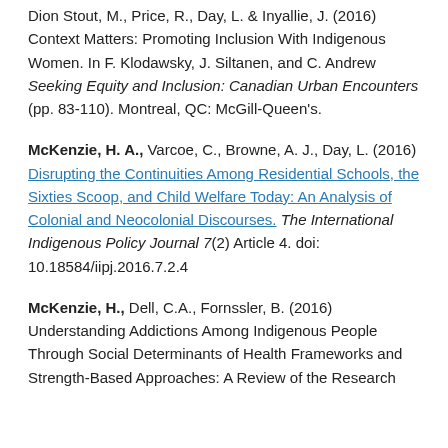Dion Stout, M., Price, R., Day, L. & Inyallie, J. (2016) Context Matters: Promoting Inclusion With Indigenous Women. In F. Klodawsky, J. Siltanen, and C. Andrew Seeking Equity and Inclusion: Canadian Urban Encounters (pp. 83-110). Montreal, QC: McGill-Queen's.
McKenzie, H. A., Varcoe, C., Browne, A. J., Day, L. (2016) Disrupting the Continuities Among Residential Schools, the Sixties Scoop, and Child Welfare Today: An Analysis of Colonial and Neocolonial Discourses. The International Indigenous Policy Journal 7(2) Article 4. doi: 10.18584/iipj.2016.7.2.4
McKenzie, H., Dell, C.A., Fornssler, B. (2016) Understanding Addictions Among Indigenous People Through Social Determinants of Health Frameworks and Strength-Based Approaches: A Review of the Research